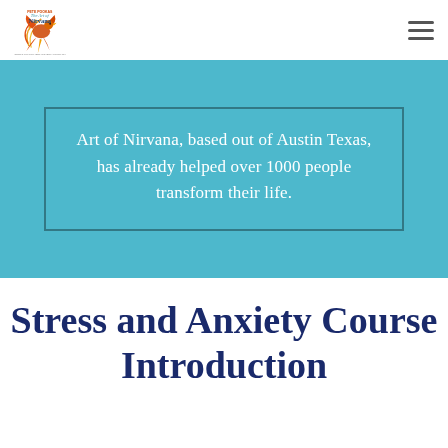The Art of Nirvana — Navigation header with logo and menu
Art of Nirvana, based out of Austin Texas, has already helped over 1000 people transform their life.
Stress and Anxiety Course Introduction